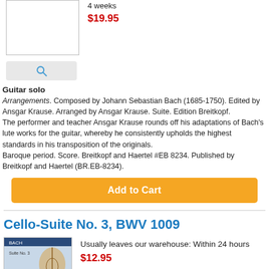4 weeks
$19.95
Guitar solo
Arrangements. Composed by Johann Sebastian Bach (1685-1750). Edited by Ansgar Krause. Arranged by Ansgar Krause. Suite. Edition Breitkopf. The performer and teacher Ansgar Krause rounds off his adaptations of Bach's lute works for the guitar, whereby he consistently upholds the highest standards in his transposition of the originals. Baroque period. Score. Breitkopf and Haertel #EB 8234. Published by Breitkopf and Haertel (BR.EB-8234).
Add to Cart
Cello-Suite No. 3, BWV 1009
Usually leaves our warehouse: Within 24 hours
$12.95